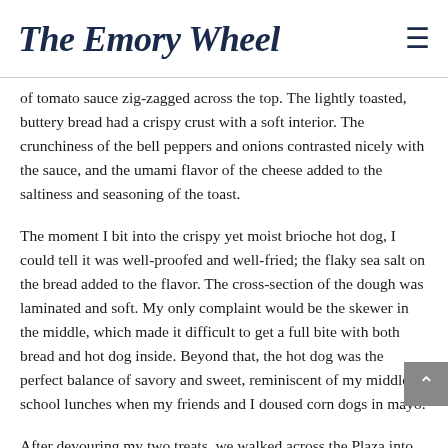The Emory Wheel
of tomato sauce zig-zagged across the top. The lightly toasted, buttery bread had a crispy crust with a soft interior. The crunchiness of the bell peppers and onions contrasted nicely with the sauce, and the umami flavor of the cheese added to the saltiness and seasoning of the toast.
The moment I bit into the crispy yet moist brioche hot dog, I could tell it was well-proofed and well-fried; the flaky sea salt on the bread added to the flavor. The cross-section of the dough was laminated and soft. My only complaint would be the skewer in the middle, which made it difficult to get a full bite with both bread and hot dog inside. Beyond that, the hot dog was the perfect balance of savory and sweet, reminiscent of my middle school lunches when my friends and I doused corn dogs in mayo.
After devouring my two treats, we walked across the Plaza into Arte 3, a coffee shop with Korean-inspired desserts and coffee. The layout of Arte 3 was quaint: the walls were lined with green plants and contrasted by white-brick booths for patrons to sit and chat while still maintaining privacy.